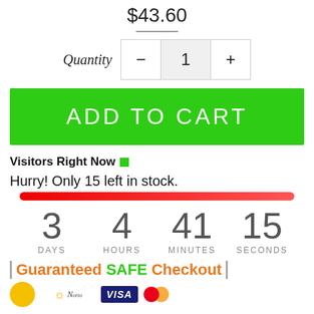$43.60
Quantity  −  1  +
ADD TO CART
Visitors Right Now
Hurry! Only 15 left in stock.
3 DAYS  4 HOURS  41 MINUTES  15 SECONDS
Guaranteed SAFE Checkout